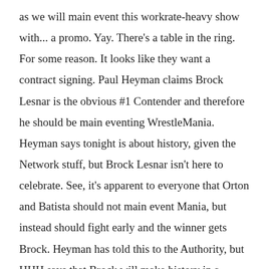as we will main event this workrate-heavy show with... a promo. Yay. There's a table in the ring. For some reason. It looks like they want a contract signing. Paul Heyman claims Brock Lesnar is the obvious #1 Contender and therefore he should be main eventing WrestleMania. Heyman says tonight is about history, given the Network stuff, but Brock Lesnar isn't here to celebrate. See, it's apparent to everyone that Orton and Batista should not main event Mania, but instead should fight early and the winner gets Brock. Heyman has told this to the Authority, but HHH says that Brock will make history in a different way: an open contract. He can name any opponent he wants. But that's a consolation prize. See, that's how they work you in the WWE. They can have anything they want, except what they want. Brock is the most dominant athlete in the NCAA wrestling, in the WWE in his first go-around, in the UFC,